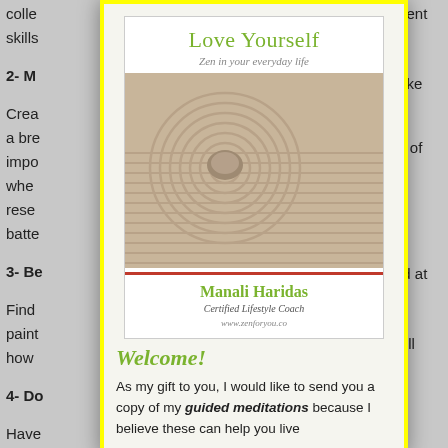colle... ment skills...
2- M...
Crea... take a bre... is impo... whe... ct of rese... batte...
3- Be...
Find... t pain... ed at how...
4- Do...
Have... will not i...
[Figure (illustration): Book cover for 'Love Yourself: Zen in your everyday life' by Manali Haridas, Certified Lifestyle Coach. Shows a zen garden with a stone and concentric circle patterns in sand. Bottom section shows author name and website www.zenforyou.co]
Welcome!
As my gift to you, I would like to send you a copy of my guided meditations because I believe these can help you live